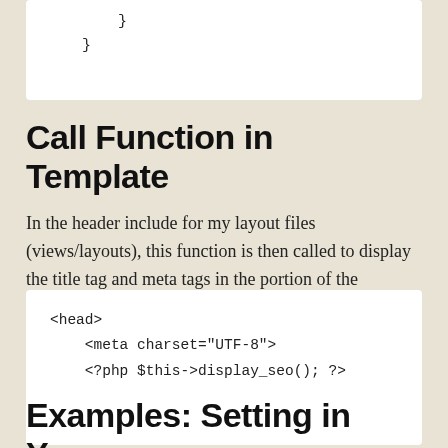}
}
Call Function in Template
In the header include for my layout files (views/layouts), this function is then called to display the title tag and meta tags in the portion of the HTML.:
<head>
    <meta charset="UTF-8">
    <?php $this->display_seo(); ?>
Examples: Setting in Your